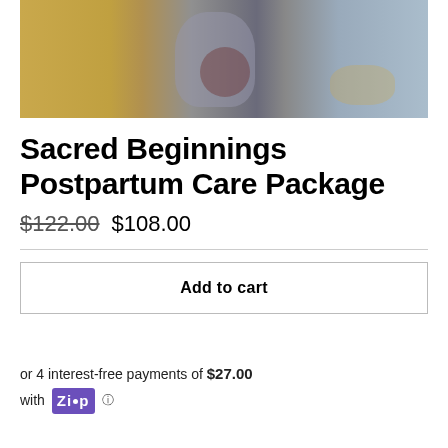[Figure (photo): Product photo showing postpartum care package items including bags and containers with herbs/items]
Sacred Beginnings Postpartum Care Package
$122.00 $108.00
Add to cart
or 4 interest-free payments of $27.00 with Zip